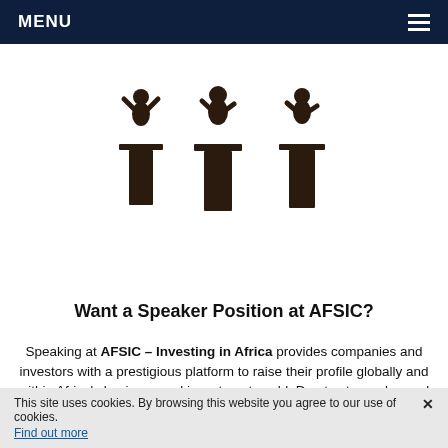MENU
[Figure (illustration): Silhouettes of three speakers at podiums against a white background]
[Figure (other): Red button reading SPEAK AT AFSIC with a right-arrow chevron]
Want a Speaker Position at AFSIC?
Speaking at AFSIC – Investing in Africa provides companies and investors with a prestigious platform to raise their profile globally and within Africa's business and investment world. Due to strong demand for speaking slots, and in line with the conference objectives, preference is given to institutional investors, and African companies seeking funding.
This site uses cookies. By browsing this website you agree to our use of cookies. Find out more